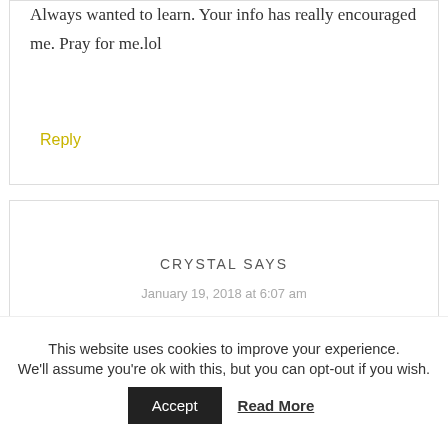Always wanted to learn. Your info has really encouraged me. Pray for me.lol
Reply
CRYSTAL SAYS
January 19, 2018 at 6:07 am
This website uses cookies to improve your experience. We'll assume you're ok with this, but you can opt-out if you wish.